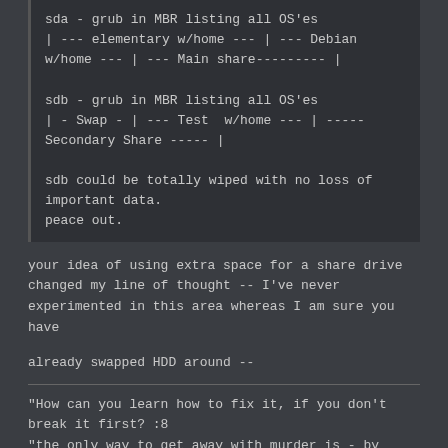sda - grub in MBR listing all OS'es
| --- elementary w/home --- | --- Debian w/home --- | --- Main share--------- |

sdb - grub in MBR listing all OS'es
| - Swap - | --- Test  w/home --- | ----- Secondary Share ----- |

sdb could be totally wiped with no loss of important data.
peace out.
your idea of using extra space for a share drive changed my line of thought -- I've never experimented in this area whereas I am sure you have
already swapped HDD around --
"How can you learn how to fix it, if you don't break it first? :8
"the only way to get away with murder is - by killing